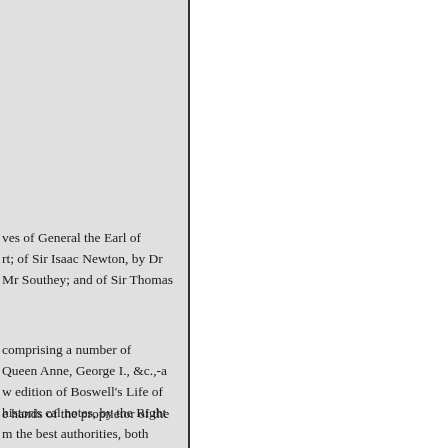ves of General the Earl of rt; of Sir Isaac Newton, by Dr Mr Southey; and of Sir Thomas
comprising a number of Queen Anne, George I., &c.,-a w edition of Boswell's Life of historis cal notes, by the Right m the best authorities, both Rev. John Williams,--the an,--the Life and Times of Diary of his conversations upon of George IIL
e hands of the proprietor of the